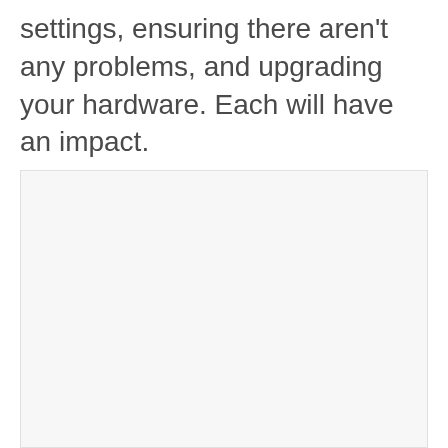settings, ensuring there aren't any problems, and upgrading your hardware. Each will have an impact.
[Figure (other): Large light gray rectangular placeholder box occupying the lower portion of the page.]